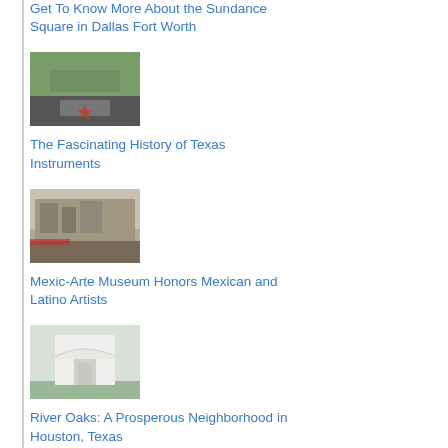Get To Know More About the Sundance Square in Dallas Fort Worth
[Figure (photo): Outdoor sign or building area, green trees and grey signage]
The Fascinating History of Texas Instruments
[Figure (photo): Multi-story building exterior with trees and street view]
Mexic-Arte Museum Honors Mexican and Latino Artists
[Figure (photo): White building with arched entrance, green lawn]
River Oaks: A Prosperous Neighborhood in Houston, Texas
[Figure (map): Street or geographic map showing roads and markings]